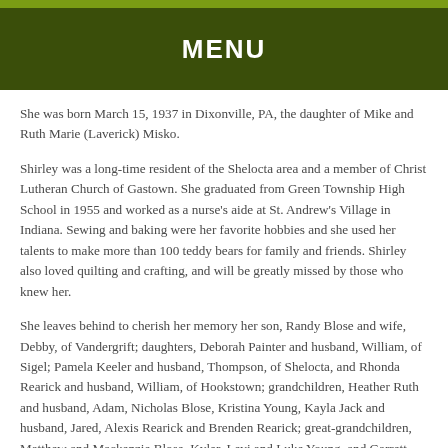MENU
She was born March 15, 1937 in Dixonville, PA, the daughter of Mike and Ruth Marie (Laverick) Misko.
Shirley was a long-time resident of the Shelocta area and a member of Christ Lutheran Church of Gastown. She graduated from Green Township High School in 1955 and worked as a nurse's aide at St. Andrew's Village in Indiana. Sewing and baking were her favorite hobbies and she used her talents to make more than 100 teddy bears for family and friends. Shirley also loved quilting and crafting, and will be greatly missed by those who knew her.
She leaves behind to cherish her memory her son, Randy Blose and wife, Debby, of Vandergrift; daughters, Deborah Painter and husband, William, of Sigel; Pamela Keeler and husband, Thompson, of Shelocta, and Rhonda Rearick and husband, William, of Hookstown; grandchildren, Heather Ruth and husband, Adam, Nicholas Blose, Kristina Young, Kayla Jack and husband, Jared, Alexis Rearick and Brenden Rearick; great-grandchildren, Matthew and Mackenzie Blose, Kyler, Levi and Luke Young, and Garrett and Alayna Jack; brothers, Mike Misko of Home, and John Misko and wife, Kathy, of Commodore; and sister, Linda Gray and husband,